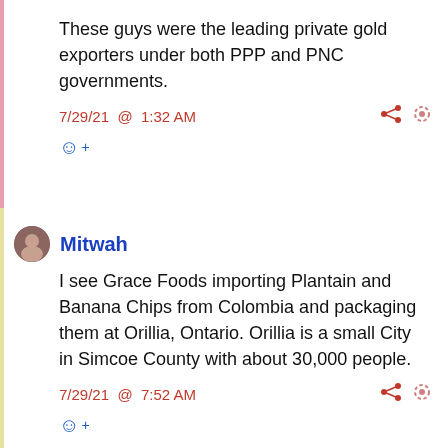These guys were the leading private gold exporters under both PPP and PNC governments.
7/29/21 @ 1:32 AM
Mitwah
I see Grace Foods importing Plantain and Banana Chips from Colombia and packaging them at Orillia, Ontario. Orillia is a small City in Simcoe County with about 30,000 people.
7/29/21 @ 7:52 AM